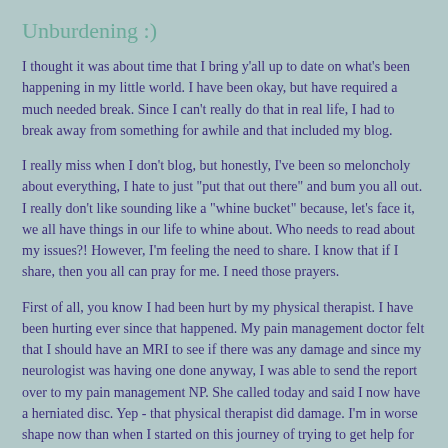Unburdening :)
I thought it was about time that I bring y'all up to date on what's been happening in my little world. I have been okay, but have required a much needed break. Since I can't really do that in real life, I had to break away from something for awhile and that included my blog.
I really miss when I don't blog, but honestly, I've been so meloncholy about everything, I hate to just "put that out there" and bum you all out. I really don't like sounding like a "whine bucket" because, let's face it, we all have things in our life to whine about. Who needs to read about my issues?! However, I'm feeling the need to share. I know that if I share, then you all can pray for me. I need those prayers.
First of all, you know I had been hurt by my physical therapist. I have been hurting ever since that happened. My pain management doctor felt that I should have an MRI to see if there was any damage and since my neurologist was having one done anyway, I was able to send the report over to my pain management NP. She called today and said I now have a herniated disc. Yep - that physical therapist did damage. I'm in worse shape now than when I started on this journey of trying to get help for my back. I've had buldging discs, but not herniated. So, I'm pretty upset. They said I could get an epideral to help with the swelling, but like I told her, the side affects for me are